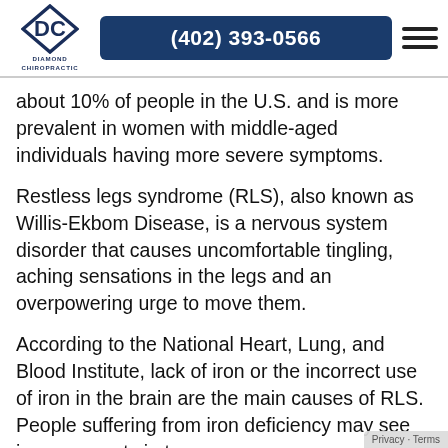Diamond Chiropractic | (402) 393-0566
about 10% of people in the U.S. and is more prevalent in women with middle-aged individuals having more severe symptoms.
Restless legs syndrome (RLS), also known as Willis-Ekbom Disease, is a nervous system disorder that causes uncomfortable tingling, aching sensations in the legs and an overpowering urge to move them.
According to the National Heart, Lung, and Blood Institute, lack of iron or the incorrect use of iron in the brain are the main causes of RLS. People suffering from iron deficiency may see improvements in their symptoms by addressing that deficiency. Dietary iron can be found in foods such as red meat, dark leafy greens, liver, lentils,